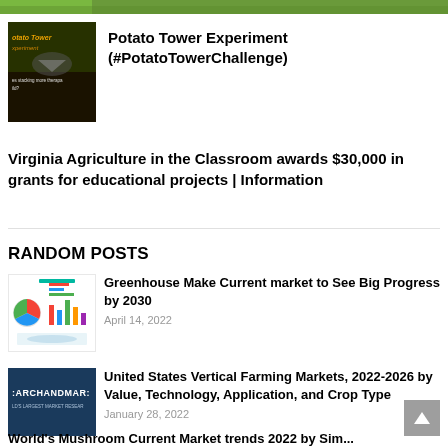[Figure (photo): Partial green/nature image at top, cropped]
[Figure (photo): Potato Tower Experiment thumbnail - dark background with yellow italic text]
Potato Tower Experiment (#PotatoTowerChallenge)
Virginia Agriculture in the Classroom awards $30,000 in grants for educational projects | Information
RANDOM POSTS
[Figure (infographic): Greenhouse market infographic thumbnail with pie chart, bar chart, and world map]
Greenhouse Make Current market to See Big Progress by 2030
April 14, 2022
[Figure (logo): Research and Markets logo - dark blue background with white text ARCHANDMAR and subtext]
United States Vertical Farming Markets, 2022-2026 by Value, Technology, Application, and Crop Type
January 28, 2022
World's Mushroom Current Market trends 2022 by Sim...